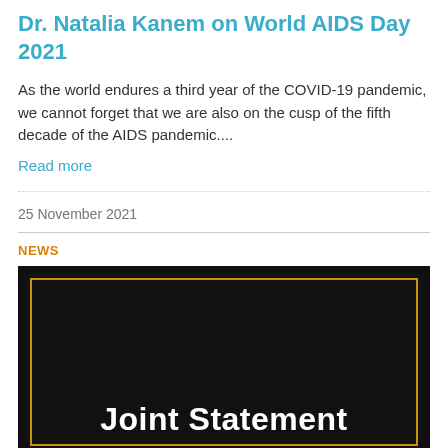Dr. Natalia Kanem on World AIDS Day 2021
As the world endures a third year of the COVID-19 pandemic, we cannot forget that we are also on the cusp of the fifth decade of the AIDS pandemic....
Read more
25 November 2021
NEWS
[Figure (photo): Black background image with gold border and bold white text reading 'Joint Statement']